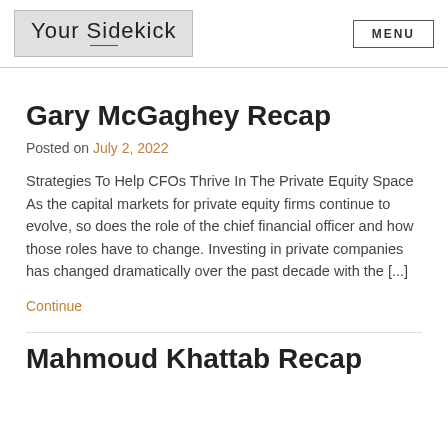Your Sidekick | MENU
Gary McGaghey Recap
Posted on July 2, 2022
Strategies To Help CFOs Thrive In The Private Equity Space As the capital markets for private equity firms continue to evolve, so does the role of the chief financial officer and how those roles have to change. Investing in private companies has changed dramatically over the past decade with the [...]
Continue
Mahmoud Khattab Recap